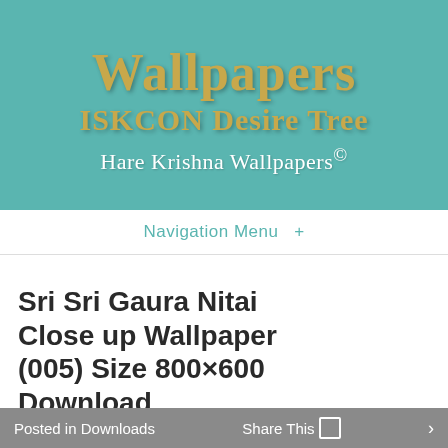[Figure (logo): ISKCON Desire Tree Wallpapers website header banner with teal background. Shows 'Wallpapers' in gold serif font, 'ISKCON Desire Tree' in gold serif font, and 'Hare Krishna Wallpapers©' in white serif font.]
Navigation Menu +
Sri Sri Gaura Nitai Close up Wallpaper (005) Size 800×600 Download
Posted in Downloads   Share This